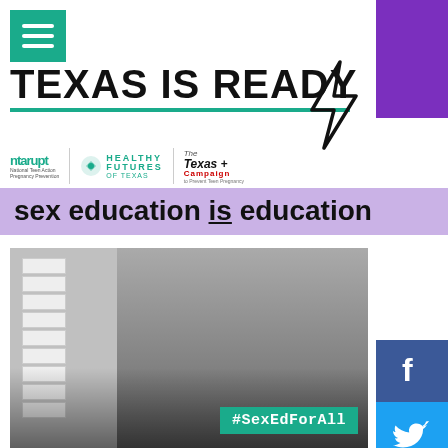[Figure (logo): Green square menu/hamburger icon top-left]
[Figure (illustration): Purple rectangle decoration top-right]
TEXAS IS READY
[Figure (illustration): Lightning bolt icon]
[Figure (logo): ntarupt, Healthy Futures of Texas, and Texas Campaign logos]
sex education is education
[Figure (photo): Group of teenage girls standing by a wall covered in paper notes in a classroom setting]
#SexEdForAll
[Figure (illustration): Social media buttons: Facebook, Twitter, YouTube, Instagram on right sidebar]